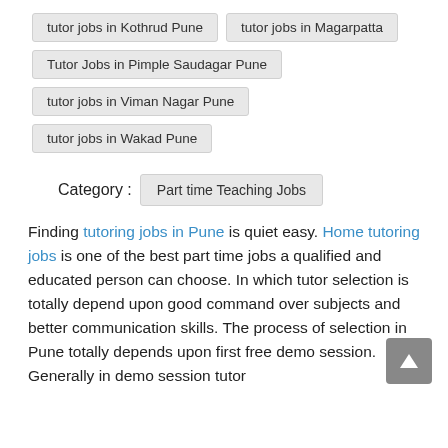tutor jobs in Kothrud Pune
tutor jobs in Magarpatta
Tutor Jobs in Pimple Saudagar Pune
tutor jobs in Viman Nagar Pune
tutor jobs in Wakad Pune
Category :  Part time Teaching Jobs
Finding tutoring jobs in Pune is quiet easy. Home tutoring jobs is one of the best part time jobs a qualified and educated person can choose. In which tutor selection is totally depend upon good command over subjects and better communication skills. The process of selection in Pune totally depends upon first free demo session. Generally in demo session tutor